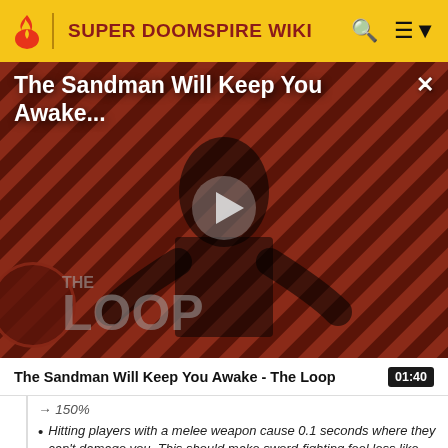SUPER DOOMSPIRE WIKI
[Figure (screenshot): Video thumbnail for 'The Sandman Will Keep You Awake - The Loop' showing a dark figure in black cloak against a diagonal striped red/dark background, with The Loop branding overlay and a play button in the center.]
The Sandman Will Keep You Awake - The Loop  01:40
→ 150%
Hitting players with a melee weapon cause 0.1 seconds where they can't damage you. This should make sword-fighting feel less like you're